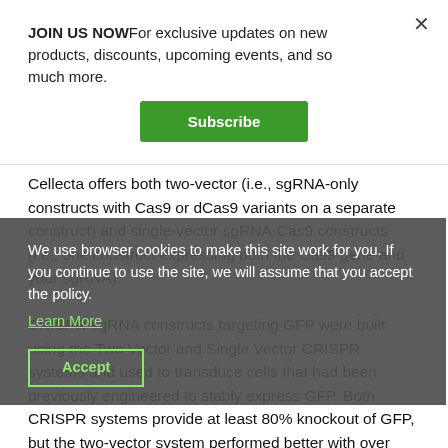JOIN US NOWFor exclusive updates on new products, discounts, upcoming events, and so much more.
Subscribe
Cellecta offers both two-vector (i.e., sgRNA-only constructs with Cas9 or dCas9 variants on a separate construct) and single-vector sgRNA-Cas9 constructs (i.e., one construct expressing both the Cas9 gene and your sgRNA).
We use browser cookies to make this site work for you. If you continue to use the site, we will assume that you accept the policy.
Learn More
Accept
CRISPR sgRNA constructs targeting GFP were built using the Two Vector and Single Vector CRISPR systems and used to transduce cells that had been previously engineered to stably express GFP. Both CRISPR systems provide at least 80% knockout of GFP, but the two-vector system performed better with over